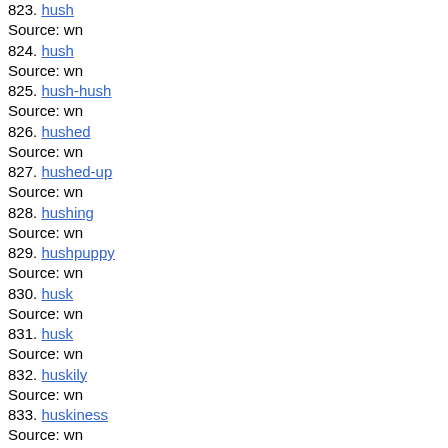823. hush
Source: wn
824. hush
Source: wn
825. hush-hush
Source: wn
826. hushed
Source: wn
827. hushed-up
Source: wn
828. hushing
Source: wn
829. hushpuppy
Source: wn
830. husk
Source: wn
831. husk
Source: wn
832. huskily
Source: wn
833. huskiness
Source: wn
834. husking
Source: wn
835. husking
Source: wn
836. husky
Source: wn
837. huss
Source: wn
838. hussar
Source: wn
839. hussar